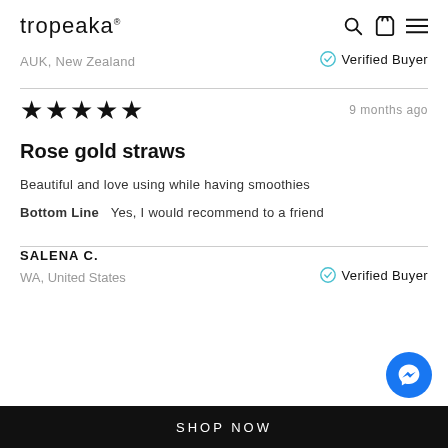tropeaka®
AUK, New Zealand
✓ Verified Buyer
★★★★★
9 months ago
Rose gold straws
Beautiful and love using while having smoothies
Bottom Line  Yes, I would recommend to a friend
SALENA C.
WA, United States
✓ Verified Buyer
SHOP NOW